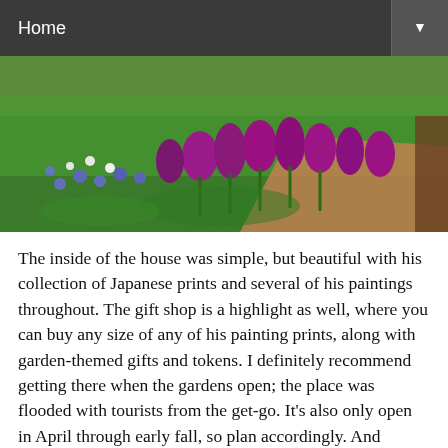Home
[Figure (photo): Garden with colorful tulips and wildflowers along a dirt path]
The inside of the house was simple, but beautiful with his collection of Japanese prints and several of his paintings throughout. The gift shop is a highlight as well, where you can buy any size of any of his painting prints, along with garden-themed gifts and tokens. I definitely recommend getting there when the gardens open; the place was flooded with tourists from the get-go. It's also only open in April through early fall, so plan accordingly. And please, if you are so inspired, if you could just jump quickly into the pond and retrieve my sunglasses for me, I would be incredibly grateful.
[Figure (photo): Dark interior scene with blue lighting and curtains]